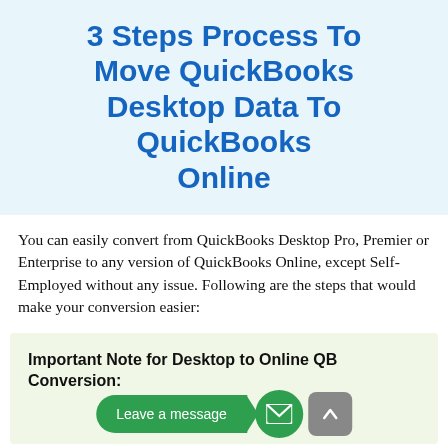3 Steps Process To Move QuickBooks Desktop Data To QuickBooks Online
You can easily convert from QuickBooks Desktop Pro, Premier or Enterprise to any version of QuickBooks Online, except Self-Employed without any issue. Following are the steps that would make your conversion easier:
Important Note for Desktop to Online QB Conversion: